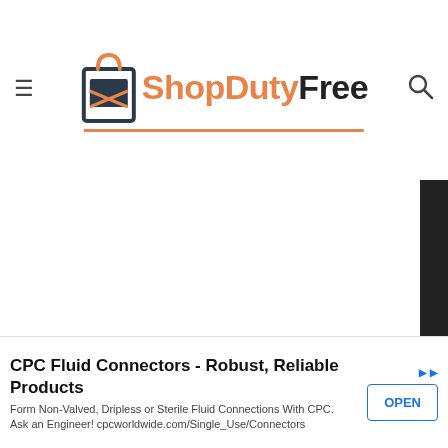[Figure (logo): ShopDutyFree logo with shopping bag icon, orange and dark text, orange underline]
Nuestra tienda usa cookies para mejorar la experiencia de usuario y le recomendamos aceptar su uso para aprovechar plenamente la navegación.
Más información  Personalizar las cookies
RECHAZAR TODO
ACEPTO
CPC Fluid Connectors - Robust, Reliable Products
Form Non-Valved, Dripless or Sterile Fluid Connections With CPC. Ask an Engineer! cpcworldwide.com/Single_Use/Connectors
OPEN